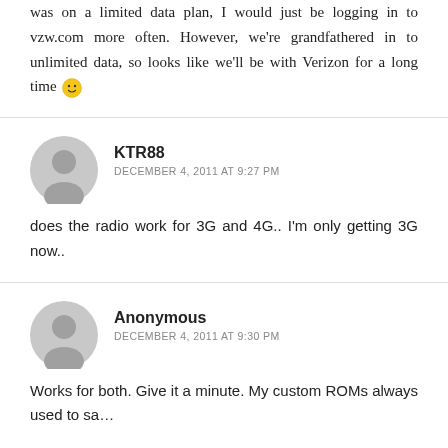was on a limited data plan, I would just be logging in to vzw.com more often. However, we're grandfathered in to unlimited data, so looks like we'll be with Verizon for a long time 🙂
KTR88
DECEMBER 4, 2011 AT 9:27 PM
does the radio work for 3G and 4G.. I'm only getting 3G now..
Anonymous
DECEMBER 4, 2011 AT 9:30 PM
Works for both. Give it a minute. My custom ROMs always used to say...